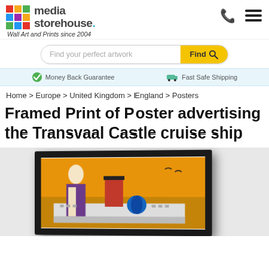[Figure (logo): Media Storehouse logo with colorful grid icon and text]
Wall Art and Prints since 2004
Find your perfect artwork  Find
Money Back Guarantee   Fast Safe Shipping
Home > Europe > United Kingdom > England > Posters
Framed Print of Poster advertising the Transvaal Castle cruise ship
[Figure (photo): Framed print showing a cruise ship poster with a woman in vintage art style, orange sky background, ship with red funnel and Union-Castle line logo]